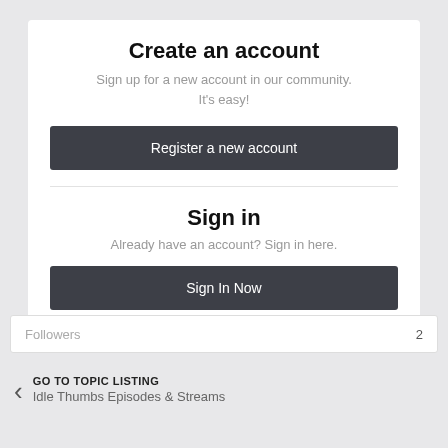Create an account
Sign up for a new account in our community. It's easy!
[Figure (screenshot): Dark button labeled 'Register a new account']
Sign in
Already have an account? Sign in here.
[Figure (screenshot): Dark button labeled 'Sign In Now']
| Followers | 2 |
| --- | --- |
GO TO TOPIC LISTING
Idle Thumbs Episodes & Streams